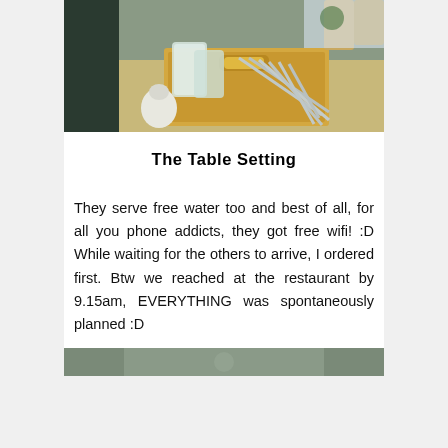[Figure (photo): Restaurant table setting showing a wooden tray with glass jars and silverware/cutlery, with restaurant interior in background]
The Table Setting
They serve free water too and best of all, for all you phone addicts, they got free wifi! :D While waiting for the others to arrive, I ordered first. Btw we reached at the restaurant by 9.15am, EVERYTHING was spontaneously planned :D
[Figure (photo): Partial photo at bottom of page showing restaurant scene]